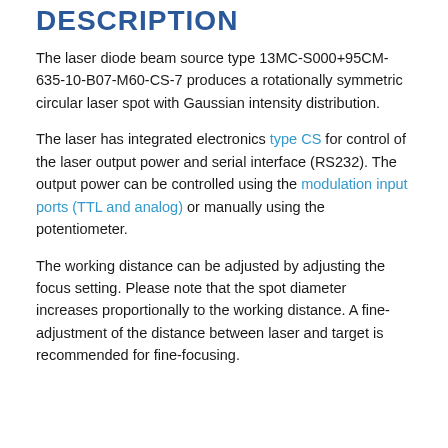DESCRIPTION
The laser diode beam source type 13MC-S000+95CM-635-10-B07-M60-CS-7 produces a rotationally symmetric circular laser spot with Gaussian intensity distribution.
The laser has integrated electronics type CS for control of the laser output power and serial interface (RS232). The output power can be controlled using the modulation input ports (TTL and analog) or manually using the potentiometer.
The working distance can be adjusted by adjusting the focus setting. Please note that the spot diameter increases proportionally to the working distance. A fine-adjustment of the distance between laser and target is recommended for fine-focusing.